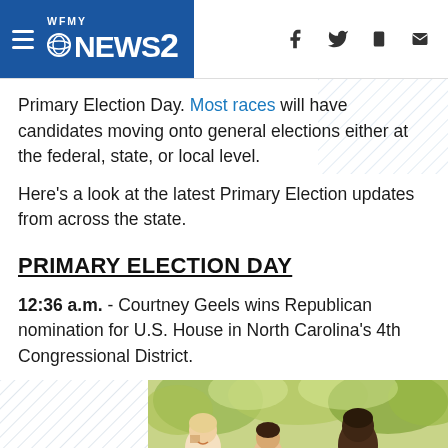WFMY NEWS 2
Primary Election Day. Most races will have candidates moving onto general elections either at the federal, state, or local level.
Here's a look at the latest Primary Election updates from across the state.
PRIMARY ELECTION DAY
12:36 a.m. - Courtney Geels wins Republican nomination for U.S. House in North Carolina's 4th Congressional District.
[Figure (photo): Group photo of smiling children and adults outdoors with green foliage background]